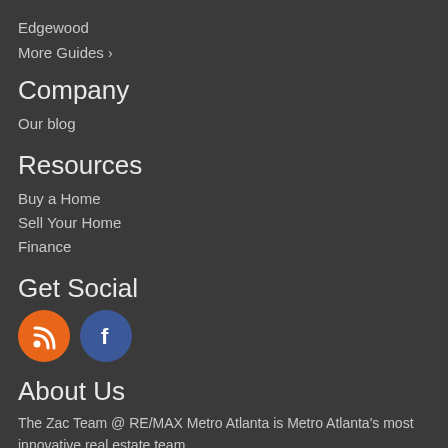Edgewood
More Guides >
Company
Our blog
Resources
Buy a Home
Sell Your Home
Finance
Get Social
[Figure (other): RSS feed icon (orange circle) and Facebook icon (blue circle)]
About Us
The Zac Team @ RE/MAX Metro Atlanta is Metro Atlanta's most innovative real estate team.